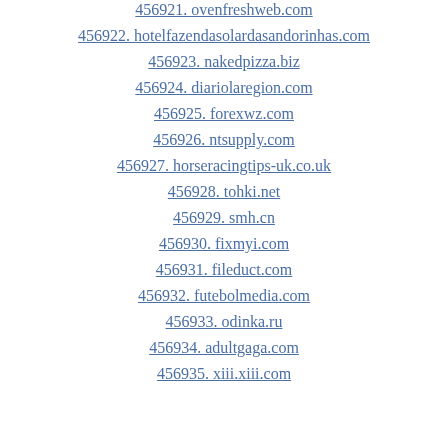456921. ovenfreshweb.com
456922. hotelfazendasolardasandorinhas.com
456923. nakedpizza.biz
456924. diariolaregion.com
456925. forexwz.com
456926. ntsupply.com
456927. horseracingtips-uk.co.uk
456928. tohki.net
456929. smh.cn
456930. fixmyi.com
456931. fileduct.com
456932. futebolmedia.com
456933. odinka.ru
456934. adultgaga.com
456935. xiii.xiii.com